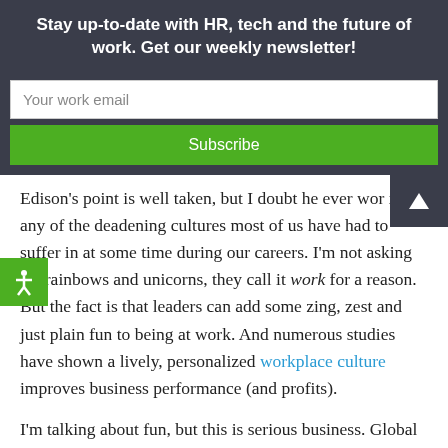Stay up-to-date with HR, tech and the future of work. Get our weekly newsletter!
Your work email
Subscribe
Edison’s point is well taken, but I doubt he ever worked in any of the deadening cultures most of us have had to suffer in at some time during our careers. I’m not asking for rainbows and unicorns, they call it work for a reason. But the fact is that leaders can add some zing, zest and just plain fun to being at work. And numerous studies have shown a lively, personalized workplace culture improves business performance (and profits).
I’m talking about fun, but this is serious business. Global employee engagement is stuck at an anemic 30 percent. This is a red flag for HR and Leadership. It’s our job to do better by our employees.